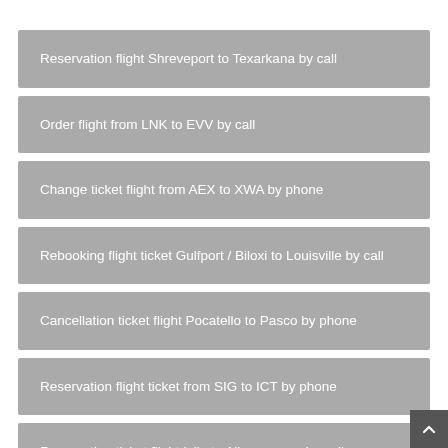Reservation flight Shreveport to Texarkana by call
Order flight from LNK to EVV by call
Change ticket flight from AEX to XWA by phone
Rebooking flight ticket Gulfport / Biloxi to Louisville by call
Cancellation ticket flight Pocatello to Pasco by phone
Reservation flight ticket from SIG to ICT by phone
Reservation ticket flight Islip to Albuquerque by call
Cancellation flight from TWF to OAK by phone